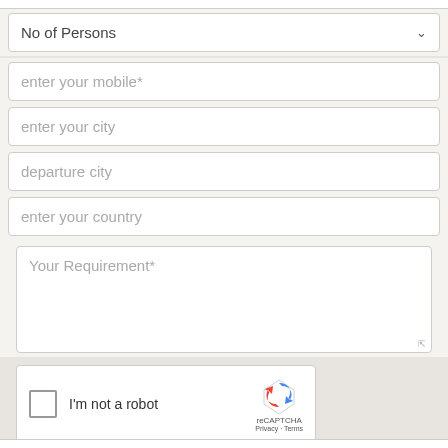[Figure (screenshot): Form field: No of Persons dropdown selector]
enter your mobile*
enter your city
departure city
enter your country
Your Requirement*
[Figure (other): reCAPTCHA widget with checkbox labeled I'm not a robot]
Send Enquiry